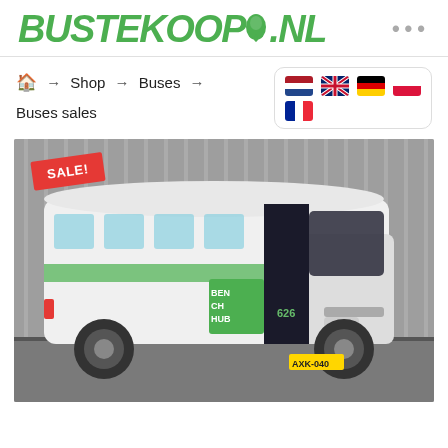BUSTEKOOP.NL
🏠 → Shop → Buses → Buses sales
[Figure (photo): White minibus with green BENCH HUB branding and number 626, parked in front of a corrugated metal building. A red SALE! badge is overlaid on the top-left corner of the image.]